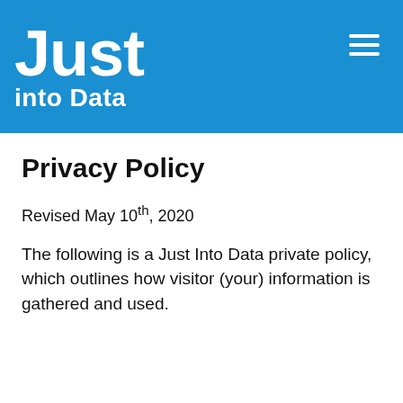Just into Data
Privacy Policy
Revised May 10th, 2020
The following is a Just Into Data private policy, which outlines how visitor (your) information is gathered and used.